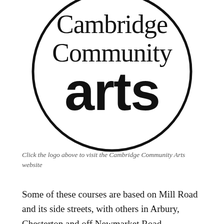[Figure (logo): Cambridge Community Arts logo: black circle outline containing the words 'Cambridge Community' in large serif/sans-serif text and 'arts' in very large bold sans-serif lowercase text]
Click the logo above to visit the Cambridge Community Arts website
Some of these courses are based on Mill Road and its side streets, with others in Arbury, Chesterton and off Newmarket Road